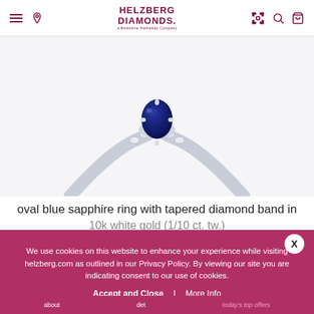Helzberg Diamonds — A Berkshire Hathaway Company
[Figure (photo): Close-up photo of an oval blue sapphire ring with tapered diamond band in white gold, shown from above on a white/light gray background.]
oval blue sapphire ring with tapered diamond band in 10k white gold (1/10 ct. tw.)
$5...
We use cookies on this website to enhance your experience while visiting helzberg.com as outlined in our Privacy Policy. By viewing our site you are indicating consent to our use of cookies.
Accept and Close | More Info
about   det   today's top offers